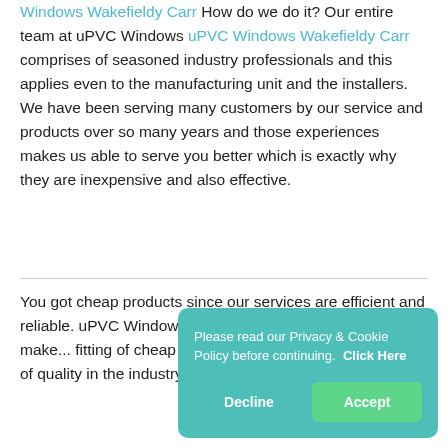Windows Wakefieldy Carr How do we do it? Our entire team at uPVC Windows uPVC Windows Wakefieldy Carr comprises of seasoned industry professionals and this applies even to the manufacturing unit and the installers. We have been serving many customers by our service and products over so many years and those experiences makes us able to serve you better which is exactly why they are inexpensive and also effective.
You got cheap products since our services are efficient and reliable. uPVC Windows uPVC Windows Wakefieldy ... the tools we make ... fitting of cheap uPVC ... Windows Wakefieldy ... terms of quality in the industry. uPVC ...
[Figure (other): Cookie consent popup with teal background reading: 'Please read our Privacy & Cookie Policy before continuing. Click Here' with Decline and Accept buttons.]